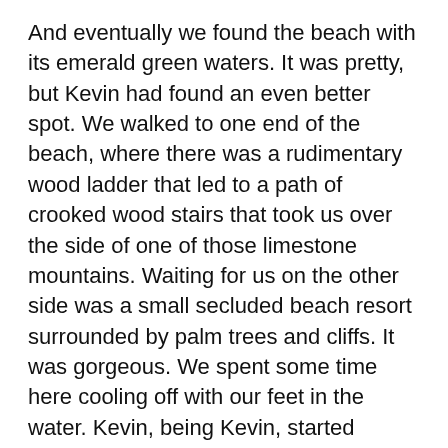And eventually we found the beach with its emerald green waters. It was pretty, but Kevin had found an even better spot. We walked to one end of the beach, where there was a rudimentary wood ladder that led to a path of crooked wood stairs that took us over the side of one of those limestone mountains. Waiting for us on the other side was a small secluded beach resort surrounded by palm trees and cliffs. It was gorgeous. We spent some time here cooling off with our feet in the water. Kevin, being Kevin, started climbing rocks and exploring around the corners of the mountains. We spotted a dock made from those big floating Legos with a few long boats tied to it, so we ventured out to the end for better views. After a few hours it was time to escape the heat, so we headed back over the mountain for some Thai food and a cold shower.
Fortunately we've been able to lock in two tours in the next week, so have no fear we will get to see some